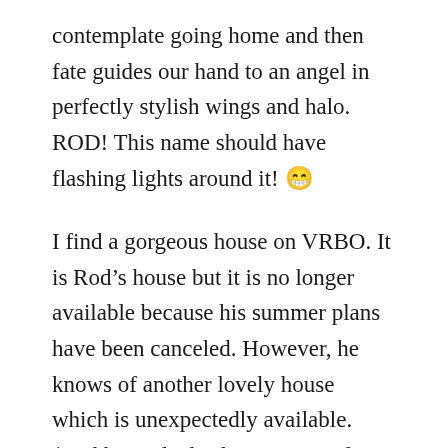contemplate going home and then fate guides our hand to an angel in perfectly stylish wings and halo. ROD! This name should have flashing lights around it! 😁
I find a gorgeous house on VRBO. It is Rod's house but it is no longer available because his summer plans have been canceled. However, he knows of another lovely house which is unexpectedly available. (Rod has a dual role as owner of gorgeous rental house/realtor). We are currently renting in [a very popular harbor town]. The new house is in [a very popular beach town]. There is one tiny insignificant little detail (thanks I owe...